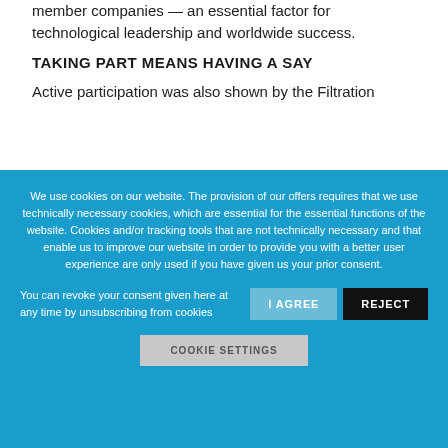member companies — an essential factor for technological leadership and worldwide success.
TAKING PART MEANS HAVING A SAY
Active participation was also shown by the Filtration
We use cookies on our website. The provision of our offers requires that we use technically necessary cookies, which are essential for the essential functions of the website. Cookies and/or tracking tools that are not technically necessary and that enable us to improve our website in order to provide you with a better user experience are only used if you have given us your prior consent.
You can revoke your consent given here at any time by unsubscribing from cookies
I AGREE
REJECT
COOKIE SETTINGS